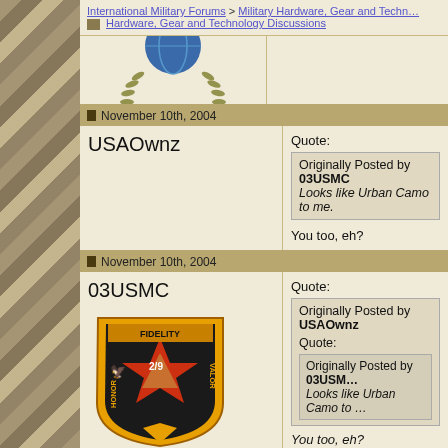International Military Forums > Military Hardware, Gear and Technology Discussions > Hardware, Gear and Technology Discussions
[Figure (illustration): Partial military wreath emblem with blue globe, cropped at top]
November 10th, 2004
USAOwnz
Quote:
Originally Posted by 03USMC
Looks like Urban Camo to me.

You too, eh?
November 10th, 2004
03USMC
[Figure (illustration): Military unit shield badge with gold border, star, eagle, text FIDELITY, HONOR, VALOR, 2/9]
Quote:
Originally Posted by USAOwnz
Quote:
Originally Posted by 03USMC
Looks like Urban Camo to

You too, eh?